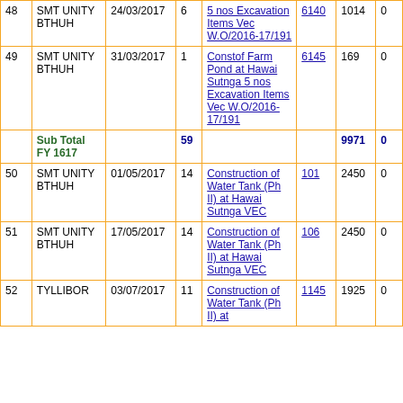| # | Name | Date | Qty | Description | Code | Amount | Col8 |
| --- | --- | --- | --- | --- | --- | --- | --- |
| 48 | SMT UNITY BTHUH | 24/03/2017 | 6 | 5 nos Excavation Items Vec W.O/2016-17/191 | 6140 | 1014 | 0 |
| 49 | SMT UNITY BTHUH | 31/03/2017 | 1 | Constof Farm Pond at Hawai Sutnga 5 nos Excavation Items Vec W.O/2016-17/191 | 6145 | 169 | 0 |
|  | Sub Total FY 1617 |  | 59 |  |  | 9971 | 0 |
| 50 | SMT UNITY BTHUH | 01/05/2017 | 14 | Construction of Water Tank (Ph II) at Hawai Sutnga VEC | 101 | 2450 | 0 |
| 51 | SMT UNITY BTHUH | 17/05/2017 | 14 | Construction of Water Tank (Ph II) at Hawai Sutnga VEC | 106 | 2450 | 0 |
| 52 | TYLLIBOR | 03/07/2017 | 11 | Construction of Water Tank (Ph II) at | 1145 | 1925 | 0 |